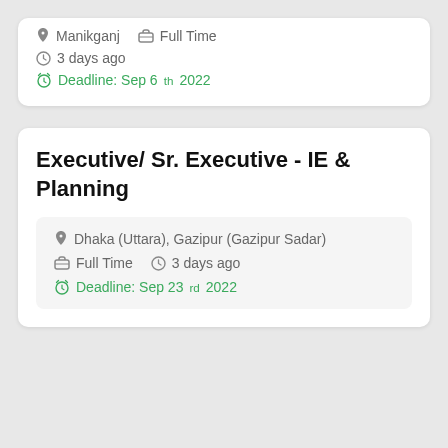Manikganj  Full Time  3 days ago  Deadline: Sep 6th 2022
Executive/ Sr. Executive - IE & Planning
Dhaka (Uttara), Gazipur (Gazipur Sadar)  Full Time  3 days ago  Deadline: Sep 23rd 2022